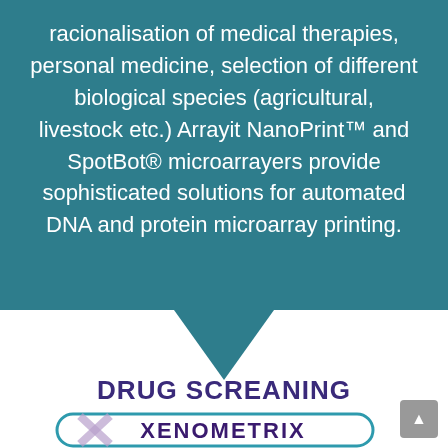racionalisation of medical therapies, personal medicine, selection of different biological species (agricultural, livestock etc.) Arrayit NanoPrint™ and SpotBot® microarrayers provide sophisticated solutions for automated DNA and protein microarray printing.
[Figure (infographic): Teal speech bubble with downward arrow pointing to DRUG SCREANING label, followed by Xenometrix logo with teal rounded rectangle border and purple ribbon decoration]
DRUG SCREANING
[Figure (logo): Xenometrix logo: teal rounded rectangle border with purple ribbon X overlay and XENOMETRIX text in dark purple bold font]